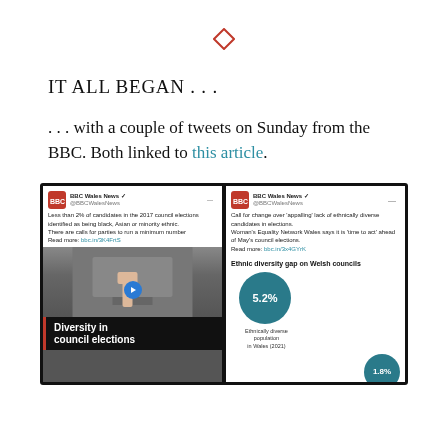[Figure (illustration): Red diamond/rhombus decorative divider symbol]
IT ALL BEGAN . . .
. . . with a couple of tweets on Sunday from the BBC. Both linked to this article.
[Figure (screenshot): Two BBC Wales News tweets side by side. Left tweet: 'Less than 2% of candidates in the 2017 council elections identified as being black, Asian or minority ethnic. There are calls for parties to run a minimum number. Read more: bbc.in/3K4FrtS' with video thumbnail showing a hand placing a vote and caption 'Diversity in council elections'. Right tweet: 'Call for change over appalling lack of ethnically diverse candidates in elections. Woman's Equality Network Wales says it is time to act ahead of May's council elections. Read more: bbc.in/3x4GYrK' with infographic titled 'Ethnic diversity gap on Welsh councils' showing 5.2% Ethnically diverse population in Wales (2021) and 1.8% Ethnically diverse council candidates in Wales (2017).]